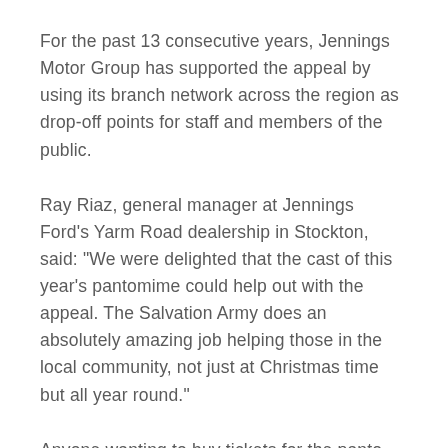For the past 13 consecutive years, Jennings Motor Group has supported the appeal by using its branch network across the region as drop-off points for staff and members of the public.
Ray Riaz, general manager at Jennings Ford's Yarm Road dealership in Stockton, said: "We were delighted that the cast of this year's pantomime could help out with the appeal. The Salvation Army does an absolutely amazing job helping those in the local community, not just at Christmas time but all year round."
Anyone wanting to buy tickets for the panto should ring 01325 486 555 or visit the website at Darlington Civic Theatre and Arts Centre.